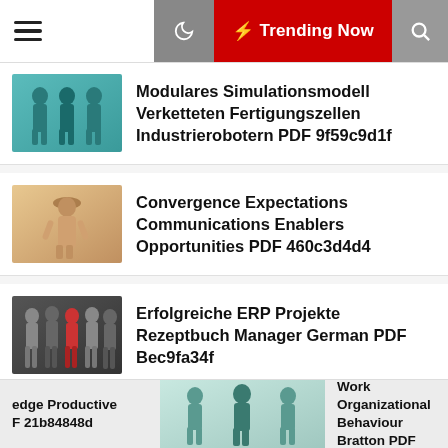Trending Now
Modulares Simulationsmodell Verketteten Fertigungszellen Industrierobotern PDF 9f59c9d1f
Convergence Expectations Communications Enablers Opportunities PDF 460c3d4d4
Erfolgreiche ERP Projekte Rezeptbuch Manager German PDF Bec9fa34f
Communication Organizational Environments Functions Determinants PDF 6cc98d741
edge Productive F 21b84848d
Introduction Work Organizational Behaviour Bratton PDF 715a61ee5